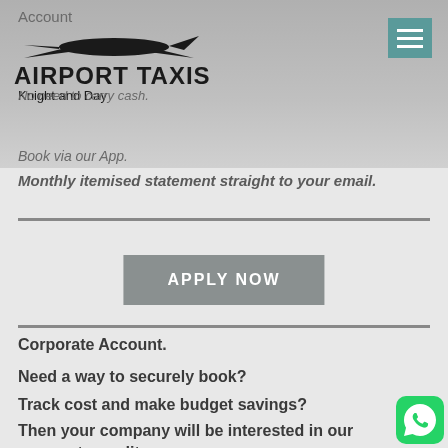Account
[Figure (logo): Airport Taxis Knight and Day logo with airplane silhouette]
No need to carry cash.
Book via our App.
Monthly itemised statement straight to your email.
APPLY NOW
Corporate Account.
Need a way to securely book?
Track cost and make budget savings?
Then your company will be interested in our corporate credit account facility.